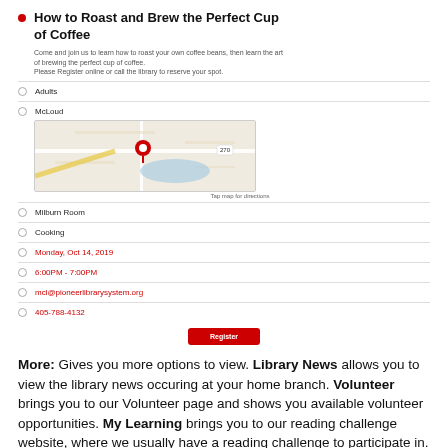How to Roast and Brew the Perfect Cup of Coffee
Come and join us to learn how to roast your own coffee beans, then learn the art of brewing the perfect cup of coffee.
Please Register online or call the library to reserve your spot.
Adults
McLoud
[Figure (map): Google Maps view of McLoud location with red pin marker]
Milburn Room
Cooking
Monday, Oct 14, 2019
6:00PM - 7:00PM
mcl@pioneerlibrarysystem.org
405-788-4132
More: Gives you more options to view. Library News allows you to view the library news occuring at your home branch. Volunteer brings you to our Volunteer page and shows you available volunteer opportunities. My Learning brings you to our reading challenge website, where we usually have a reading challenge to participate in. FAQ will bring you to our most asked questions about our services.